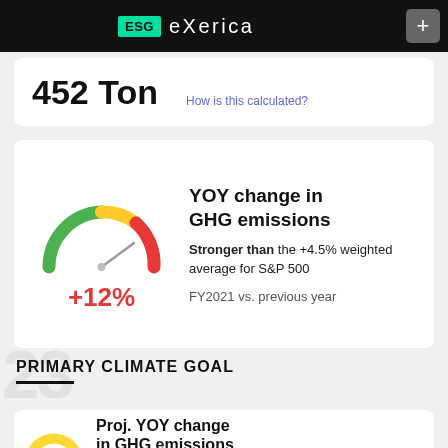ESG Exerica
452 Ton
How is this calculated?
[Figure (other): Gauge/speedometer chart showing YOY change in GHG emissions at +12%, colored arc from green (left) to red (right), needle pointing right-of-center]
YOY change in GHG emissions
Stronger than the +4.5% weighted average for S&P 500
FY2021 vs. previous year
PRIMARY CLIMATE GOAL
Proj. YOY change in GHG emissions